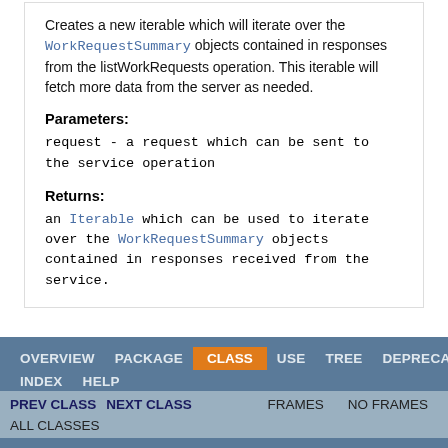Creates a new iterable which will iterate over the WorkRequestSummary objects contained in responses from the listWorkRequests operation. This iterable will fetch more data from the server as needed.
Parameters:
request - a request which can be sent to the service operation
Returns:
an Iterable which can be used to iterate over the WorkRequestSummary objects contained in responses received from the service.
OVERVIEW  PACKAGE  CLASS  USE  TREE  DEPRECATED  INDEX  HELP  PREV CLASS  NEXT CLASS  FRAMES  NO FRAMES  ALL CLASSES